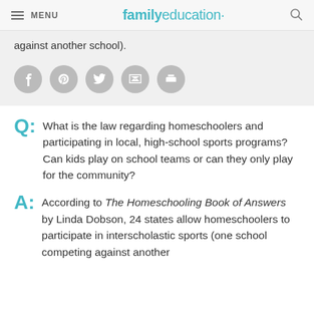MENU | familyeducation
against another school).
[Figure (other): Social share icons: Facebook, Pinterest, Twitter, Email, Print]
Q: What is the law regarding homeschoolers and participating in local, high-school sports programs? Can kids play on school teams or can they only play for the community?
A: According to The Homeschooling Book of Answers by Linda Dobson, 24 states allow homeschoolers to participate in interscholastic sports (one school competing against another